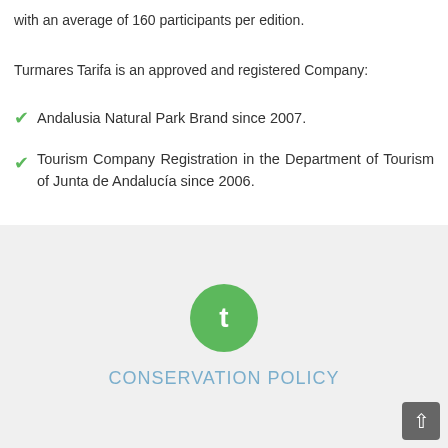with an average of 160 participants per edition.
Turmares Tarifa is an approved and registered Company:
Andalusia Natural Park Brand since 2007.
Tourism Company Registration in the Department of Tourism of Junta de Andalucía since 2006.
[Figure (logo): Green circular logo with a white letter t]
CONSERVATION POLICY